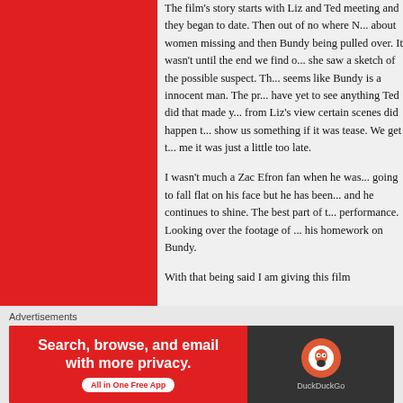[Figure (other): Large red rectangle occupying the left portion of the page]
The film's story starts with Liz and Ted meeting and they began to date. Then out of nowhere N... about women missing and then Bundy being pulled over. It wasn't until the end we find o... she saw a sketch of the possible suspect. Th... seems like Bundy is a innocent man. The pr... have yet to see anything Ted did that made y... from Liz's view certain scenes did happen t... show us something if it was tease. We get t... me it was just a little too late.
I wasn't much a Zac Efron fan when he was... going to fall flat on his face but he has been... and he continues to shine. The best part of t... performance. Looking over the footage of ... his homework on Bundy.
With that being said I am giving this film...
Advertisements
[Figure (infographic): DuckDuckGo advertisement banner: red left panel with text 'Search, browse, and email with more privacy. All in One Free App' and dark right panel with DuckDuckGo logo]